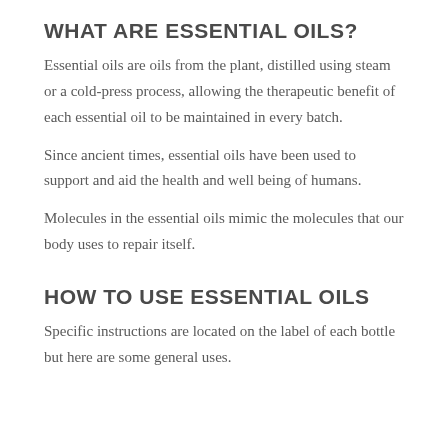WHAT ARE ESSENTIAL OILS?
Essential oils are oils from the plant, distilled using steam or a cold-press process, allowing the therapeutic benefit of each essential oil to be maintained in every batch.
Since ancient times, essential oils have been used to support and aid the health and well being of humans.
Molecules in the essential oils mimic the molecules that our body uses to repair itself.
HOW TO USE ESSENTIAL OILS
Specific instructions are located on the label of each bottle but here are some general uses.